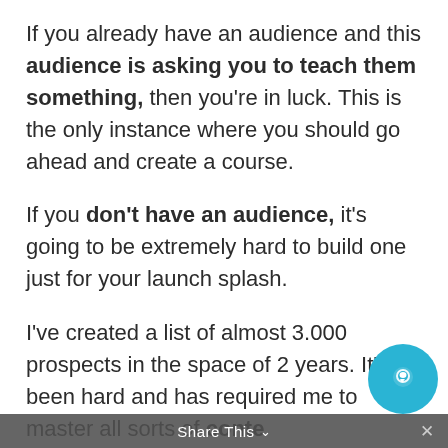If you already have an audience and this audience is asking you to teach them something, then you're in luck. This is the only instance where you should go ahead and create a course.
If you don't have an audience, it's going to be extremely hard to build one just for your launch splash.
I've created a list of almost 3.000 prospects in the space of 2 years. It's been hard and has required me to master all sorts of content marketing skills. It's also been a full-time engagement at times and required me to hire
Share This ∨  ×